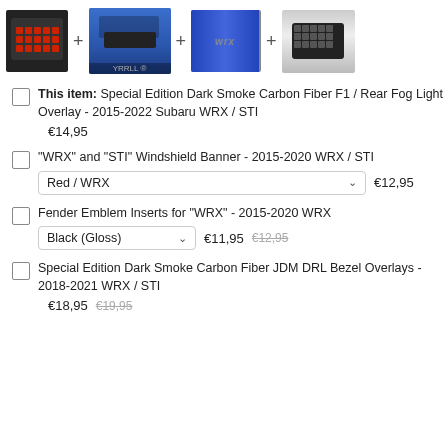[Figure (photo): Product image row showing: LED tail light overlay (black/red), Subaru WRX blue car front, blue car door with WRX badge, white car front grille. Images connected by + signs.]
This item: Special Edition Dark Smoke Carbon Fiber F1 / Rear Fog Light Overlay - 2015-2022 Subaru WRX / STI  €14,95
"WRX" and "STI" Windshield Banner - 2015-2020 WRX / STI  Red / WRX  €12,95
Fender Emblem Inserts for "WRX" - 2015-2020 WRX  Black (Gloss)  €11,95  €12,95
Special Edition Dark Smoke Carbon Fiber JDM DRL Bezel Overlays - 2018-2021 WRX / STI  €18,95  €19,95